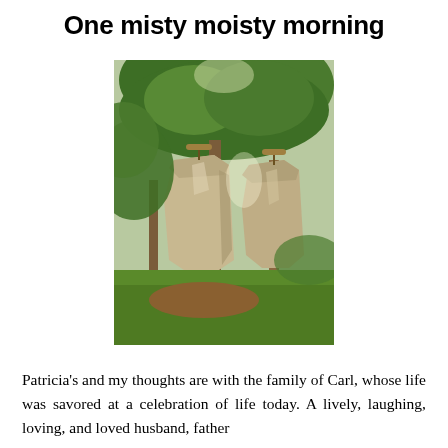One misty moisty morning
[Figure (photo): Two tan/beige capes or ponchos hanging on hangers from tree branches in a green outdoor setting with grass and trees in the background]
Patricia's and my thoughts are with the family of Carl, whose life was savored at a celebration of life today.  A lively, laughing, loving, and loved husband, father